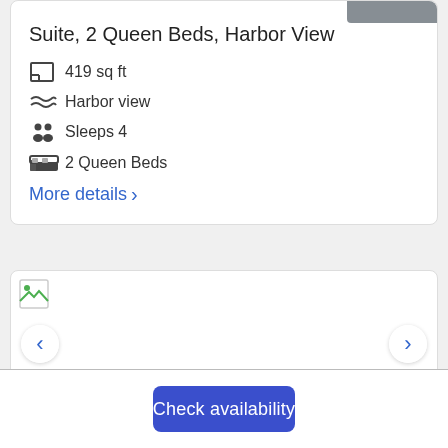Suite, 2 Queen Beds, Harbor View
419 sq ft
Harbor view
Sleeps 4
2 Queen Beds
More details >
[Figure (photo): Hotel room photo with broken/loading image placeholder, left and right navigation arrows]
Check availability